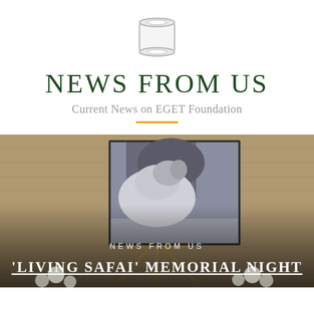[Figure (logo): Scroll/document icon, outline style, grey]
NEWS FROM US
Current News on EGET Foundation
[Figure (photo): Event photo: an easel displaying a black and white photo of a lion or animal, with flowers and people in the background on a textured tan/brown backdrop. Overlaid text reads NEWS FROM US and 'LIVING SAFAI' MEMORIAL NIGHT]
NEWS FROM US
'LIVING SAFAI' MEMORIAL NIGHT